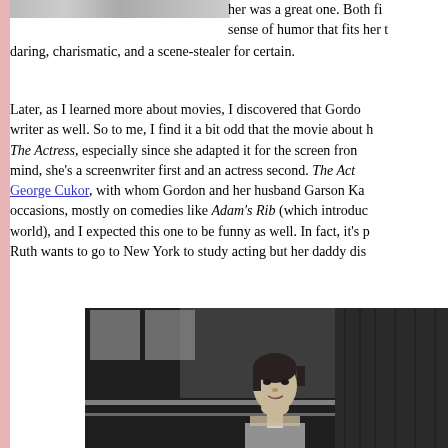[Figure (photo): Partial top image, cropped at top of page (appears to be a photo related to The Actress film)]
her was a great one. Both fi... sense of humor that fits her t... daring, charismatic, and a scene-stealer for certain.
Later, as I learned more about movies, I discovered that Gordo... writer as well. So to me, I find it a bit odd that the movie about h... The Actress, especially since she adapted it for the screen fron... mind, she's a screenwriter first and an actress second. The Act... George Cukor, with whom Gordon and her husband Garson Ka... occasions, mostly on comedies like Adam's Rib (which introduc... world), and I expected this one to be funny as well. In fact, it's p... Ruth wants to go to New York to study acting but her daddy dis...
[Figure (photo): Black and white photograph of a young woman resting her chin on her hand, appearing to be in a bathroom or dressing room setting with towels and wooden paneling visible]